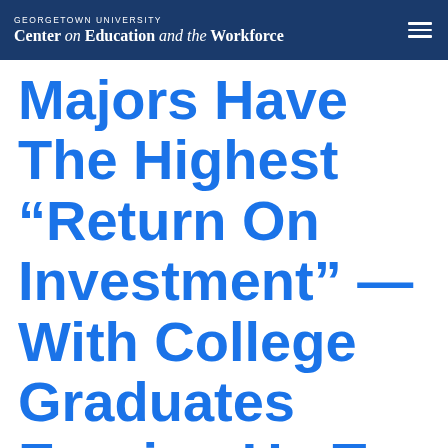GEORGETOWN UNIVERSITY Center on Education and the Workforce
Majors Have The Highest “Return On Investment” – With College Graduates Earning Up To $165,000 A